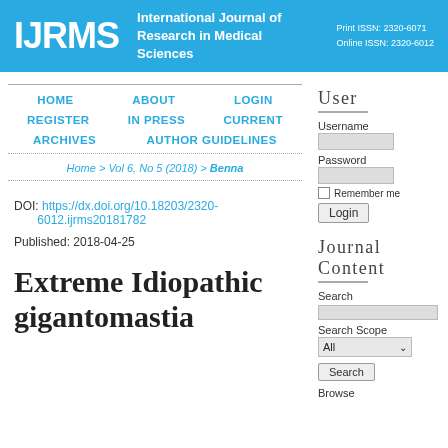IJRMS — International Journal of Research in Medical Sciences — Print ISSN: 2320-6071 — Online ISSN: 2320-6012
HOME   ABOUT   LOGIN   REGISTER   IN PRESS   CURRENT   ARCHIVES   AUTHOR GUIDELINES
Home > Vol 6, No 5 (2018) > Benna
DOI: https://dx.doi.org/10.18203/2320-6012.ijrms20181782
Published: 2018-04-25
Extreme Idiopathic gigantomastia
User
Username
Password
Remember me
Login
Journal Content
Search
Search Scope
All
Search
Browse